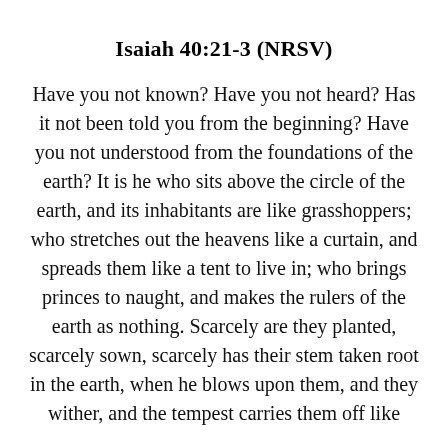Isaiah 40:21-3 (NRSV)
Have you not known? Have you not heard? Has it not been told you from the beginning? Have you not understood from the foundations of the earth? It is he who sits above the circle of the earth, and its inhabitants are like grasshoppers; who stretches out the heavens like a curtain, and spreads them like a tent to live in; who brings princes to naught, and makes the rulers of the earth as nothing. Scarcely are they planted, scarcely sown, scarcely has their stem taken root in the earth, when he blows upon them, and they wither, and the tempest carries them off like